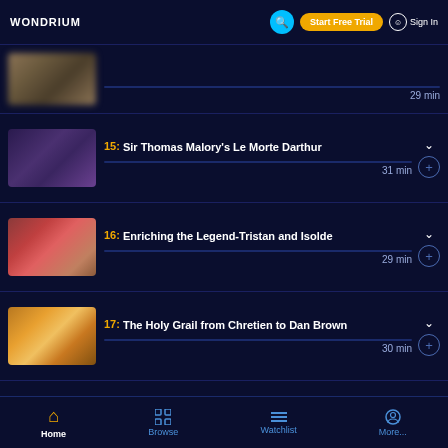WONDRIUM — Start Free Trial — Sign In
29 min (partially visible first episode)
15: Sir Thomas Malory's Le Morte Darthur — 31 min
16: Enriching the Legend-Tristan and Isolde — 29 min
17: The Holy Grail from Chretien to Dan Brown — 30 min
18: Arthuriana in Medieval Art — 29 min
19: Spenser, Milton, and the
Home | Browse | Watchlist | More...